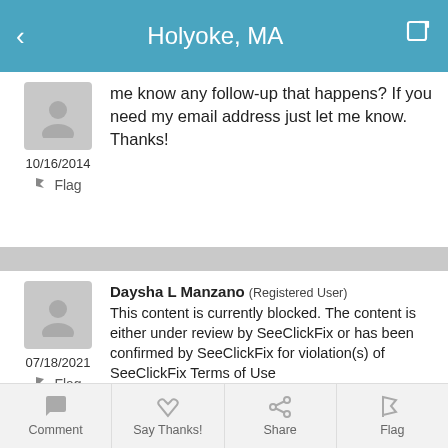Holyoke, MA
me know any follow-up that happens? If you need my email address just let me know. Thanks!
10/16/2014
Flag
Daysha L Manzano (Registered User) This content is currently blocked. The content is either under review by SeeClickFix or has been confirmed by SeeClickFix for violation(s) of SeeClickFix Terms of Use (https://legal.seeclickfix.com/terms-of-use/ ). Content that aligns with SeeClickFix Terms of Use will be posted, and content that does not align with our Terms of Use will not be permitted for public viewing.
07/18/2021
Flag
Comment  Say Thanks!  Share  Flag